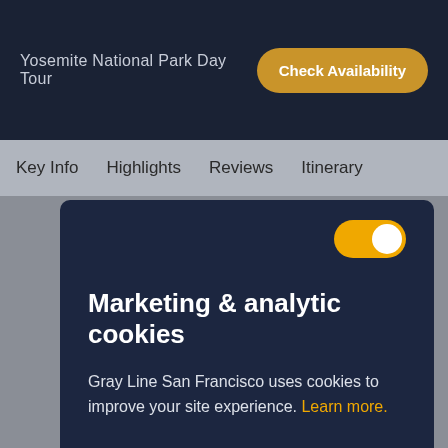Yosemite National Park Day Tour
Check Availability
Key Info  Highlights  Reviews  Itinerary
Marketing & analytic cookies
Gray Line San Francisco uses cookies to improve your site experience. Learn more.
Allow Cookies